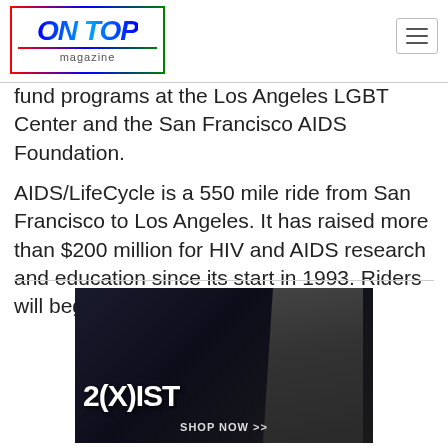ON TOP magazine
fund programs at the Los Angeles LGBT Center and the San Francisco AIDS Foundation.
AIDS/LifeCycle is a 550 mile ride from San Francisco to Los Angeles. It has raised more than $200 million for HIV and AIDS research and education since its start in 1993. Riders will begin cycling on June 2.
[Figure (photo): Advertisement for 2(X)IST underwear brand featuring a shirtless male model with text '2(X)IST' and 'SHOP NOW >>']